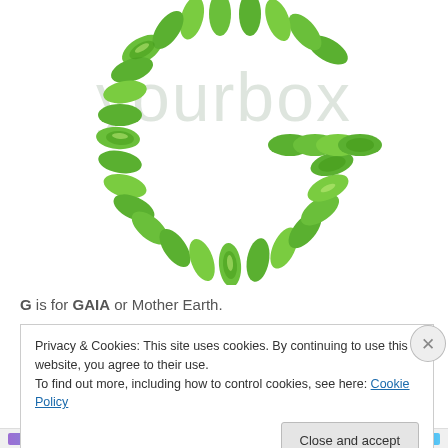[Figure (illustration): A green laurel wreath shaped into the letter G, with detailed leaf illustration, and a light gray watermark text 'yourbox' behind it]
G is for GAIA or Mother Earth.
Privacy & Cookies: This site uses cookies. By continuing to use this website, you agree to their use.
To find out more, including how to control cookies, see here: Cookie Policy
Close and accept